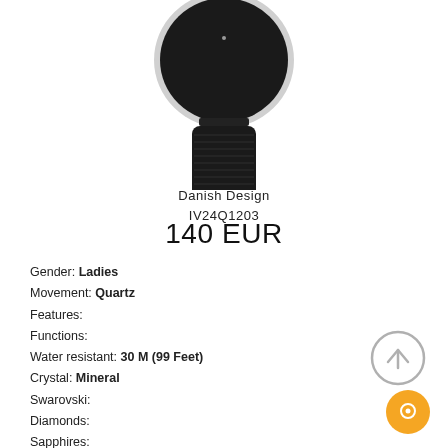[Figure (photo): Top portion of a watch showing the face with silver bezel and black dial, and a black leather strap hanging below]
Danish Design
IV24Q1203
140 EUR
Gender: Ladies
Movement: Quartz
Features:
Functions:
Water resistant: 30 M (99 Feet)
Crystal: Mineral
Swarovski:
Diamonds:
Sapphires:
Phianites:
Topaz:
Rubies:
[Figure (illustration): Grey circular up-arrow button (back to top icon)]
[Figure (illustration): Orange circular chat/messenger button]